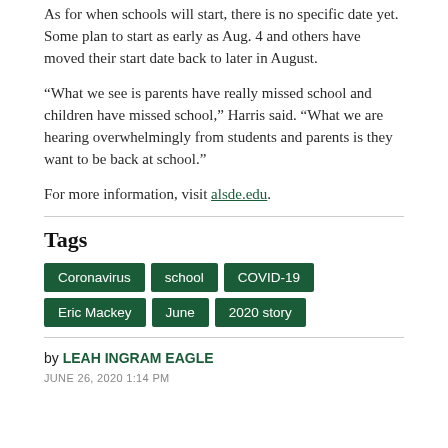As for when schools will start, there is no specific date yet. Some plan to start as early as Aug. 4 and others have moved their start date back to later in August.
“What we see is parents have really missed school and children have missed school,” Harris said. “What we are hearing overwhelmingly from students and parents is they want to be back at school.”
For more information, visit alsde.edu.
Tags
Coronavirus
school
COVID-19
Eric Mackey
June
2020 story
by LEAH INGRAM EAGLE
JUNE 26, 2020 1:14 PM